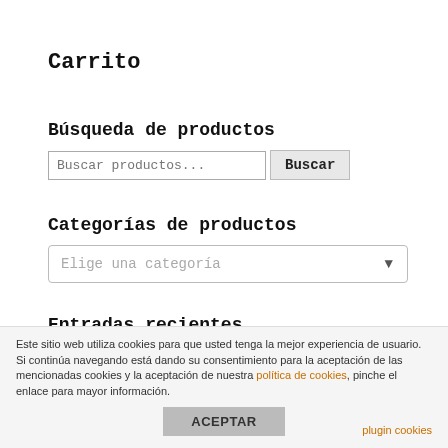Carrito
Búsqueda de productos
[Figure (screenshot): Search input box with placeholder 'Buscar productos...' and a 'Buscar' button]
Categorías de productos
[Figure (screenshot): Dropdown selector with placeholder 'Elige una categoría']
Entradas recientes
Asian Courting Website
31, 748 Standard Mexican Girlfriend Pictures,
Este sitio web utiliza cookies para que usted tenga la mejor experiencia de usuario. Si continúa navegando está dando su consentimiento para la aceptación de las mencionadas cookies y la aceptación de nuestra política de cookies, pinche el enlace para mayor información.
ACEPTAR
plugin cookies